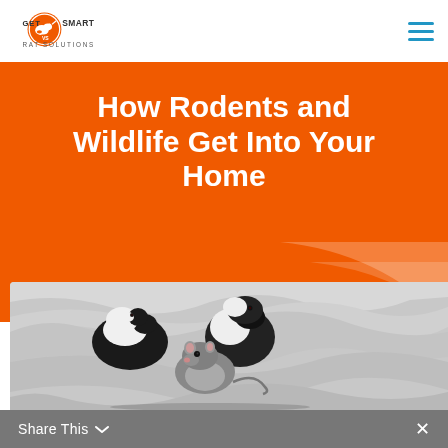GET SMART RAT SOLUTIONS
How Rodents and Wildlife Get Into Your Home
[Figure (photo): Two black and white guinea pigs and a grey rat sitting on white bedding, viewed from above]
Share This ×